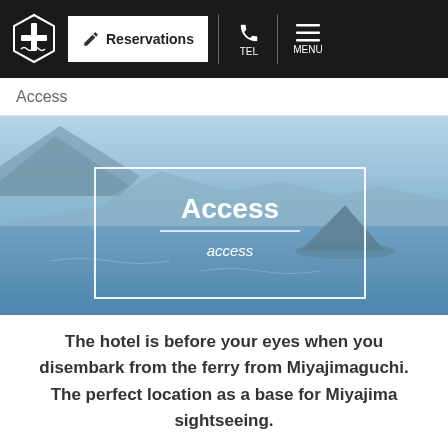Reservations | TEL | MENU
Access
[Figure (photo): Aerial/elevated view of a coastal sea scene with mountains, blue water, and a small volcanic island in the foreground. A white rectangle overlay contains bold white text 'Access' with a horizontal rule and italic white text 'access' below it.]
The hotel is before your eyes when you disembark from the ferry from Miyajimaguchi. The perfect location as a base for Miyajima sightseeing.